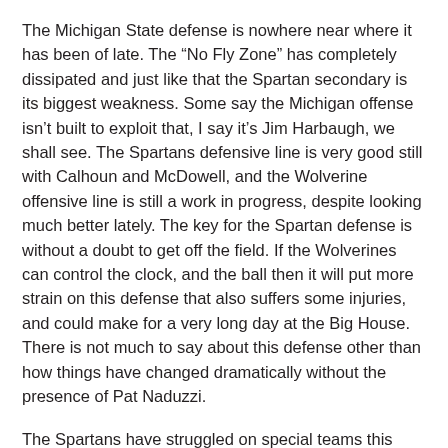The Michigan State defense is nowhere near where it has been of late. The “No Fly Zone” has completely dissipated and just like that the Spartan secondary is its biggest weakness. Some say the Michigan offense isn’t built to exploit that, I say it’s Jim Harbaugh, we shall see. The Spartans defensive line is very good still with Calhoun and McDowell, and the Wolverine offensive line is still a work in progress, despite looking much better lately. The key for the Spartan defense is without a doubt to get off the field. If the Wolverines can control the clock, and the ball then it will put more strain on this defense that also suffers some injuries, and could make for a very long day at the Big House. There is not much to say about this defense other than how things have changed dramatically without the presence of Pat Naduzzi.
The Spartans have struggled on special teams this season while the Wolverines have thrived. If the Wolverine defense can keep the Spartans outside of the 20-yard line then the shutout streak could stay intact. I also think this the game we finally see a blocked punt, and I would not be one but surprised if the Wolverines return a punt, or another kickoff